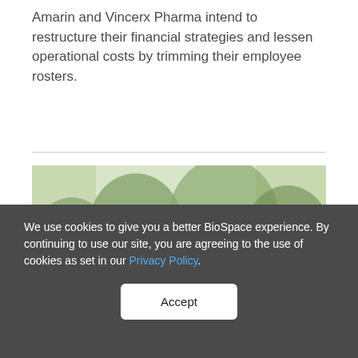Amarin and Vincerx Pharma intend to restructure their financial strategies and lessen operational costs by trimming their employee rosters.
[Figure (photo): A group of five business professionals sitting around a table in a meeting room with large windows showing trees outside. A blonde woman in the center is speaking with her hands raised while others listen.]
We use cookies to give you a better BioSpace experience. By continuing to use our site, you are agreeing to the use of cookies as set in our Privacy Policy.